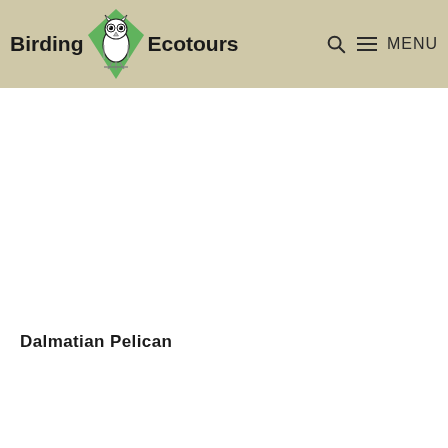Birding Ecotours  MENU
[Figure (logo): Birding Ecotours logo with owl illustration inside a green diamond shape, with bold text 'Birding' and 'Ecotours' on either side]
Dalmatian Pelican